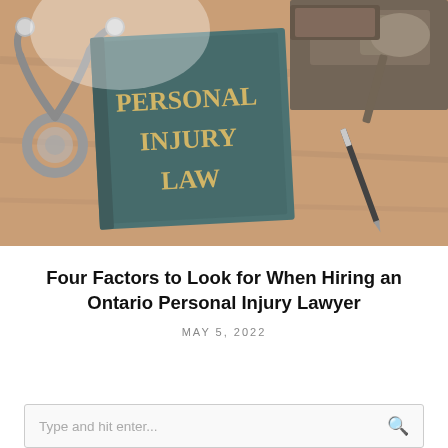[Figure (photo): Photo of a dark teal book titled 'PERSONAL INJURY LAW' in gold letters on a wooden desk, with a stethoscope on the left and a judge's gavel in the upper right, plus a pen.]
Four Factors to Look for When Hiring an Ontario Personal Injury Lawyer
MAY 5, 2022